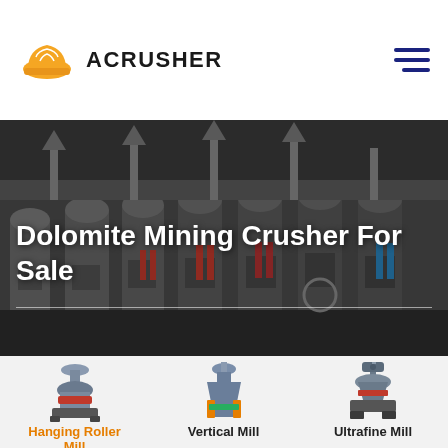ACRUSHER
Dolomite Mining Crusher For Sale
[Figure (photo): Industrial grinding mill machines in a large factory facility, multiple large roller mill units in a row]
[Figure (photo): Hanging Roller Mill machine product image]
Hanging Roller Mill
[Figure (photo): Vertical Mill machine product image]
Vertical Mill
[Figure (photo): Ultrafine Mill machine product image]
Ultrafine Mill